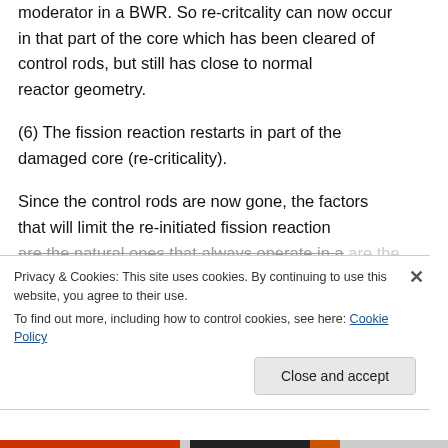moderator in a BWR. So re-critcality can now occur in that part of the core which has been cleared of control rods, but still has close to normal reactor geometry.
(6) The fission reaction restarts in part of the damaged core (re-criticality).
Since the control rods are now gone, the factors that will limit the re-initiated fission reaction are the natural ones that always operate in a
Privacy & Cookies: This site uses cookies. By continuing to use this website, you agree to their use.
To find out more, including how to control cookies, see here: Cookie Policy